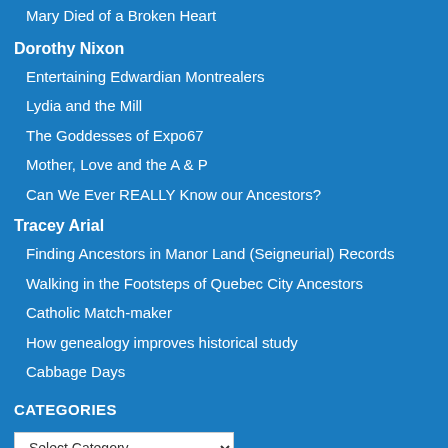Mary Died of a Broken Heart
Dorothy Nixon
Entertaining Edwardian Montrealers
Lydia and the Mill
The Goddesses of Expo67
Mother, Love and the A & P
Can We Ever REALLY Know our Ancestors?
Tracey Arial
Finding Ancestors in Manor Land (Seigneurial) Records
Walking in the Footsteps of Quebec City Ancestors
Catholic Match-maker
How genealogy improves historical study
Cabbage Days
CATEGORIES
Select Category (dropdown)